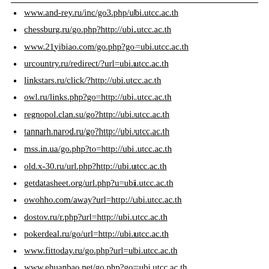www.and-rey.ru/inc/go3.php/ubi.utcc.ac.th
chessburg.ru/go.php?http://ubi.utcc.ac.th
www.21yibiao.com/go.php?go=ubi.utcc.ac.th
urcountry.ru/redirect/?url=ubi.utcc.ac.th
linkstars.ru/click/?http://ubi.utcc.ac.th
owl.ru/links.php?go=http://ubi.utcc.ac.th
regnopol.clan.su/go?http://ubi.utcc.ac.th
tannarh.narod.ru/go?http://ubi.utcc.ac.th
mss.in.ua/go.php?to=http://ubi.utcc.ac.th
old.x-30.ru/url.php?http://ubi.utcc.ac.th
getdatasheet.org/url.php?u=ubi.utcc.ac.th
owohho.com/away?url=http://ubi.utcc.ac.th
dostov.ru/r.php?url=http://ubi.utcc.ac.th
pokerdeal.ru/go/url=http://ubi.utcc.ac.th
www.fittoday.ru/go.php?url=ubi.utcc.ac.th
www.ehuanbao.net/go.php?go=ubi.utcc.ac.th
railwaymarket.ru/r.php?url=ubi.utcc.ac.th
vishivalochka.ru/go?http://ubi.utcc.ac.th
catalog.dir.bg/url.php?URL=ubi.utcc.ac.th